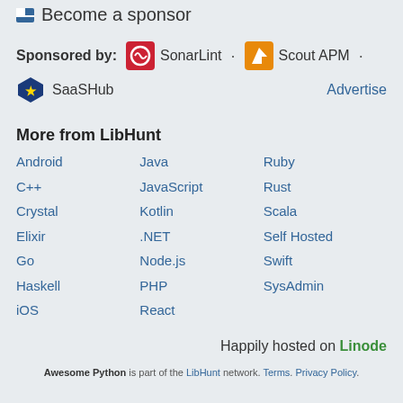🏴 Become a sponsor
Sponsored by: SonarLint · Scout APM · SaaSHub   Advertise
More from LibHunt
Android
Java
Ruby
C++
JavaScript
Rust
Crystal
Kotlin
Scala
Elixir
.NET
Self Hosted
Go
Node.js
Swift
Haskell
PHP
SysAdmin
iOS
React
Happily hosted on Linode
Awesome Python is part of the LibHunt network. Terms. Privacy Policy.